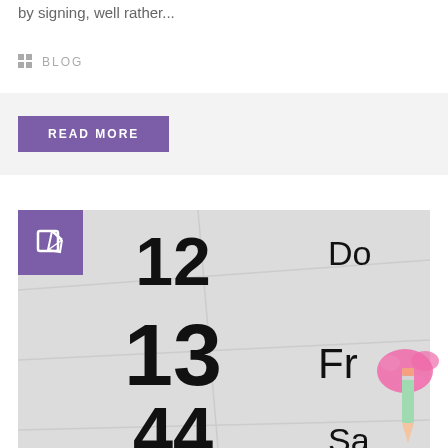by signing, well rather...
BLOG
READ MORE
[Figure (photo): Close-up photo of a calendar showing numbers 12, 13, 44 and day abbreviations 'Do', 'Fr', 'Sa'. A purple icon box with a pencil/edit icon overlays the top-left corner.]
[Figure (illustration): Decorative pencil illustration with pink paint splash, positioned at bottom-right corner]